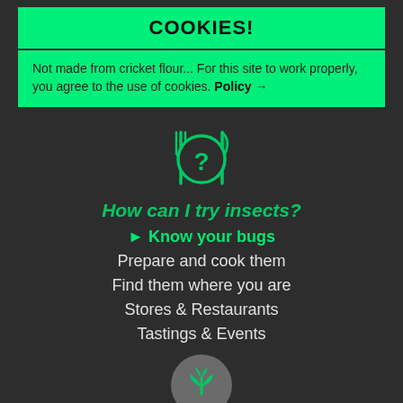COOKIES!
Not made from cricket flour... For this site to work properly, you agree to the use of cookies. Policy →
[Figure (illustration): Fork, plate with question mark, and knife icon in green]
How can I try insects?
► Know your bugs
Prepare and cook them
Find them where you are
Stores & Restaurants
Tastings & Events
[Figure (logo): Circular grey logo with green plant/insect icon at bottom of page]